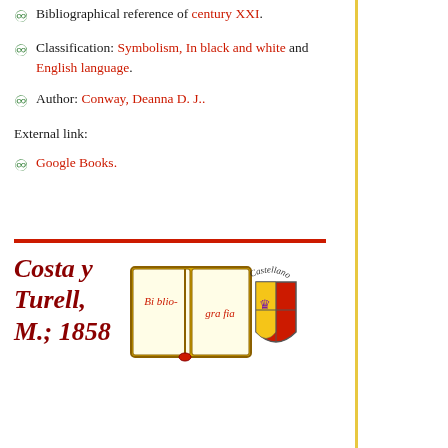Bibliographical reference of century XXI.
Classification: Symbolism, In black and white and English language.
Author: Conway, Deanna D. J..
External link:
Google Books.
Costa y Turell, M.; 1858
[Figure (illustration): Open book emblem with 'Bibliografía' text and a Spanish coat-of-arms shield, with 'Castellano' text in a curve around it]